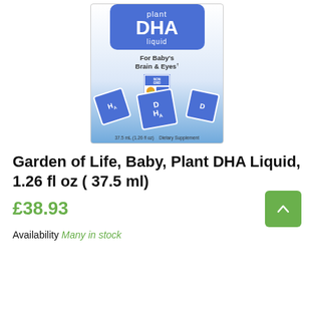[Figure (photo): Product photo of Garden of Life Baby Plant DHA Liquid supplement box. The box is white/blue with a rounded blue label at top reading 'plant DHA liquid'. Below is text 'For Baby's Brain & Eyes†' and a Non-GMO Certified badge. Blue DHA tiles appear at the bottom of the box. Box footer reads '37.5 mL (1.26 fl oz) Dietary Supplement'.]
Garden of Life, Baby, Plant DHA Liquid, 1.26 fl oz ( 37.5 ml)
£38.93
Availability Many in stock